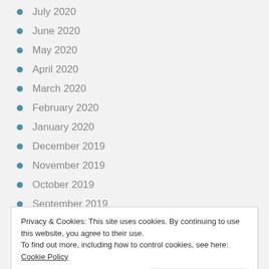July 2020
June 2020
May 2020
April 2020
March 2020
February 2020
January 2020
December 2019
November 2019
October 2019
September 2019
August 2019
Privacy & Cookies: This site uses cookies. By continuing to use this website, you agree to their use.
To find out more, including how to control cookies, see here: Cookie Policy
February 2019